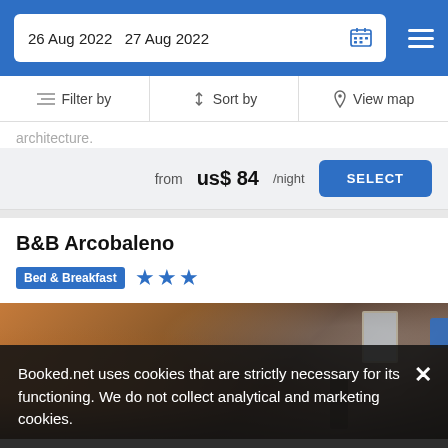26 Aug 2022  27 Aug 2022
Filter by  Sort by  View map
architecture.
from us$ 84/night
SELECT
B&B Arcobaleno
Bed & Breakfast  ★★★
[Figure (photo): Interior room photo with warm orange/brown textured wall, a window visible on the right, dim lighting suggesting a rustic room interior]
Booked.net uses cookies that are strictly necessary for its functioning. We do not collect analytical and marketing cookies.